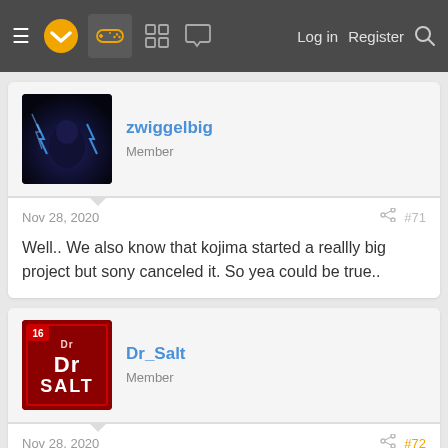Navigation bar with hamburger menu, logo, gamepad icon, grid icon, chat icon, Log in, Register, Search
zwiggelbig
Member
Nov 28, 2020  #71
Well.. We also know that kojima started a reallly big project but sony canceled it. So yea could be true..
Dr_Salt
Member
Nov 28, 2020  #72
zwiggelbig said:
Well.. We also know that kojima started a reallly big project but sony canceled it. So yea could be true..